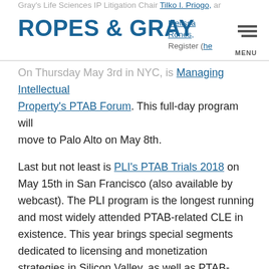Gray's Life Sciences IP Litigation Chair Tilko Priogo, and Melissa Rones. Register (here)
ROPES & GRAY
On Thursday May 3rd in NYC, is Managing Intellectual Property's PTAB Forum. This full-day program will move to Palo Alto on May 8th.
Last but not least is PLI's PTAB Trials 2018 on May 15th in San Francisco (also available by webcast). The PLI program is the longest running and most widely attended PTAB-related CLE in existence. This year brings special segments dedicated to licensing and monetization strategies in Silicon Valley, as well as PTAB-centric prosecution practices. I am pleased to continue to chair this program alongside Robert Greene Sterne of the Sterne Kessler firm. (The New York stop of this program will be September 21st)